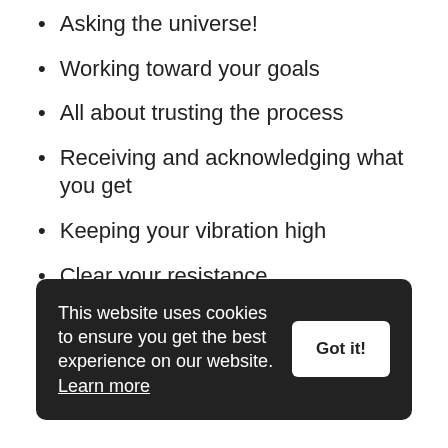Asking the universe!
Working toward your goals
All about trusting the process
Receiving and acknowledging what you get
Keeping your vibration high
Clear your resistance
This website uses cookies to ensure you get the best experience on our website. Learn more